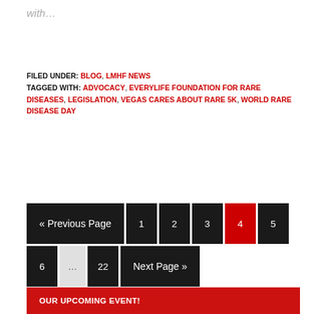with…
FILED UNDER: BLOG, LMHF NEWS
TAGGED WITH: ADVOCACY, EVERYLIFE FOUNDATION FOR RARE DISEASES, LEGISLATION, VEGAS CARES ABOUT RARE 5K, WORLD RARE DISEASE DAY
« Previous Page  1  2  3  4  5  6  …  22  Next Page »
OUR UPCOMING EVENT!